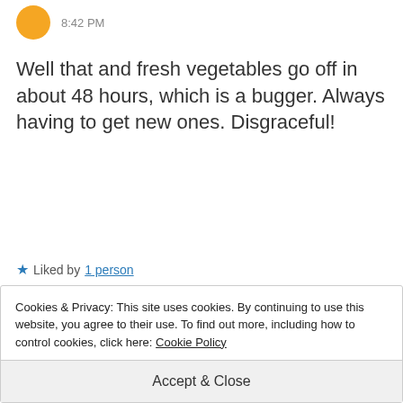[Figure (illustration): Yellow circle avatar (user profile picture)]
8:42 PM
Well that and fresh vegetables go off in about 48 hours, which is a bugger. Always having to get new ones. Disgraceful!
★ Liked by 1 person
REPLY
[Figure (illustration): Brown/auburn circle avatar (next commenter's profile picture)]
Cookies & Privacy: This site uses cookies. By continuing to use this website, you agree to their use. To find out more, including how to control cookies, click here: Cookie Policy
Accept & Close